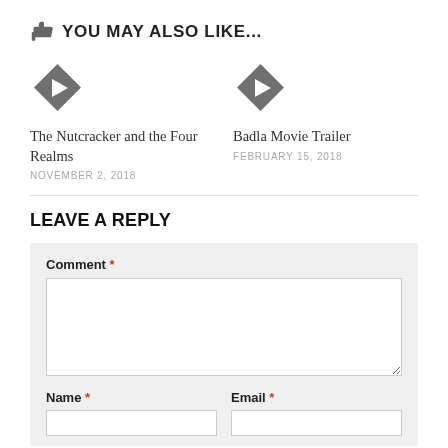YOU MAY ALSO LIKE...
The Nutcracker and the Four Realms
NOVEMBER 2, 2018
Badla Movie Trailer
FEBRUARY 15, 2018
LEAVE A REPLY
Comment *
Name *
Email *